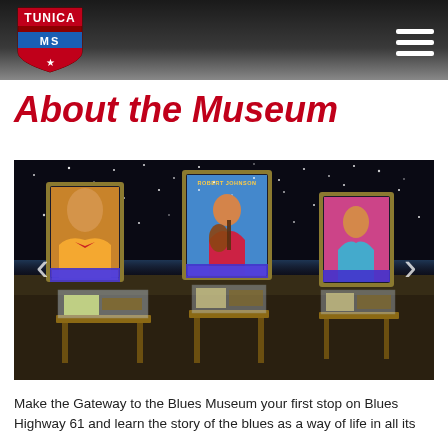TUNICA MS [logo with shield]
About the Museum
[Figure (photo): Interior of the Gateway to the Blues Museum showing three illuminated display stands with colorful portrait paintings of blues musicians (including Robert Johnson) framed in ornate frames, with small artifact cases on wooden tables in front. The background shows a mural of a night sky with stars over a flat delta landscape.]
Make the Gateway to the Blues Museum your first stop on Blues Highway 61 and learn the story of the blues as a way of life in all its